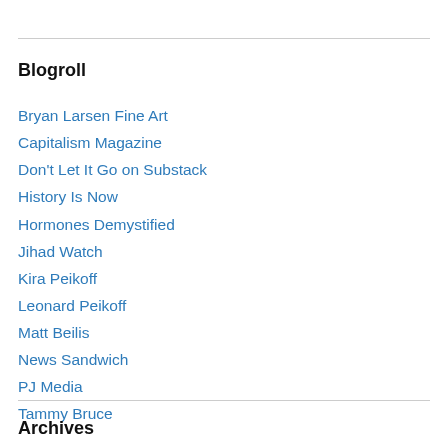Blogroll
Bryan Larsen Fine Art
Capitalism Magazine
Don't Let It Go on Substack
History Is Now
Hormones Demystified
Jihad Watch
Kira Peikoff
Leonard Peikoff
Matt Beilis
News Sandwich
PJ Media
Tammy Bruce
Archives